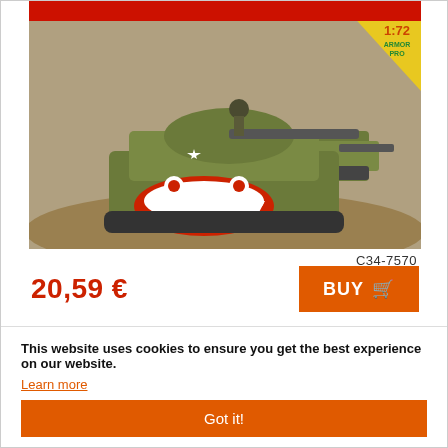[Figure (photo): Model kit box art showing WWII Sherman tanks with shark-mouth markings in a battle scene. Yellow corner badge reads '1:72 ARMOR PRO' with 'ANNIVERSARY' badge. Red banner across top.]
C34-7570
20,59 €
BUY
Model Kit military - ISU-152 Soviet Tank Destroyer (1:35) – Zvezda
This website uses cookies to ensure you get the best experience on our website.
Learn more
Got it!